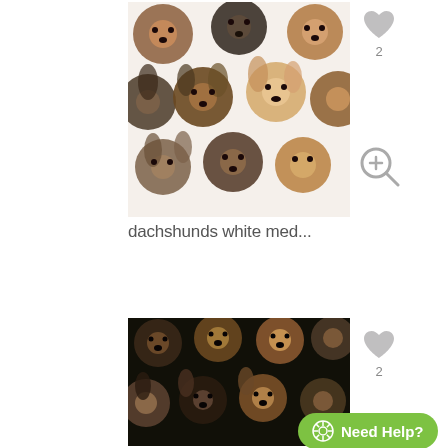[Figure (photo): Fabric print with multiple dachshund dog faces on white background]
[Figure (illustration): Gray heart icon with count 2 for first product]
[Figure (illustration): Gray zoom/magnify icon for first product]
dachshunds white med...
[Figure (photo): Fabric print with multiple dachshund dog faces on black background]
[Figure (illustration): Gray heart icon with count 2 for second product]
[Figure (illustration): Gray zoom/magnify icon for second product]
Need Help?